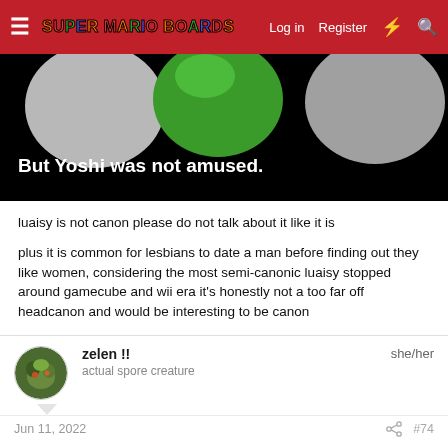Super Mario Boards — Log in  Register
[Figure (screenshot): Screenshot from a video game or meme showing Yoshi character (green) against a dark background with caption text 'But Yoshi was not amused.']
luaisy is not canon please do not talk about it like it is
plus it is common for lesbians to date a man before finding out they like women, considering the most semi-canonic luaisy stopped around gamecube and wii era it's honestly not a too far off headcanon and would be interesting to be canon
zelen !!  she/her
actual spore creature
Jun 11, 2022   #74